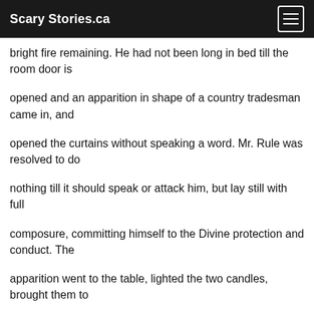Scary Stories.ca
bright fire remaining. He had not been long in bed till the room door is
opened and an apparition in shape of a country tradesman came in, and
opened the curtains without speaking a word. Mr. Rule was resolved to do
nothing till it should speak or attack him, but lay still with full
composure, committing himself to the Divine protection and conduct. The
apparition went to the table, lighted the two candles, brought them to